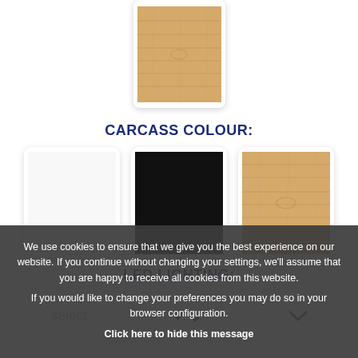[Figure (illustration): A square swatch showing a wood grain texture (light oak/pine color) centered at the top of the page, with rounded corners and a subtle shadow.]
CARCASS COLOUR:
[Figure (illustration): Three color swatches in a row: white (blank), black, and wood grain texture (light oak). Each is a rounded rectangle with a shadow.]
LED LIGHTING:
[Figure (illustration): A dropdown selector with placeholder text 'select' and a blue chevron arrow on the right.]
We use cookies to ensure that we give you the best experience on our website. If you continue without changing your settings, we'll assume that you are happy to receive all cookies from this website.
If you would like to change your preferences you may do so in your browser configuration.
Click here to hide this message